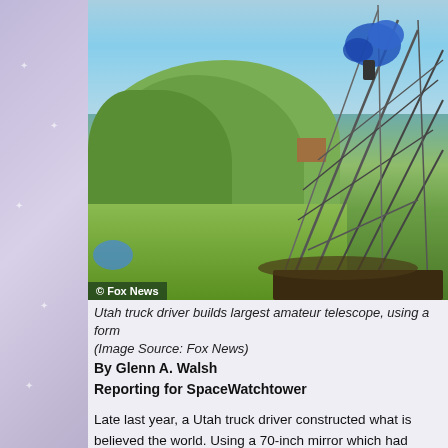[Figure (photo): Outdoor scene showing a large amateur telescope structure with metal frame struts extending upward at an angle, a blue tarp visible at the top, green trees in the background, open grassy field, clear sky. Fox News watermark in lower left corner.]
Utah truck driver builds largest amateur telescope, using a form... (Image Source: Fox News)
By Glenn A. Walsh
Reporting for SpaceWatchtower
Late last year, a Utah truck driver constructed what is believed the world. Using a 70-inch mirror which had been built to be us Clements, 51, built a telescope that rivals that of some professi